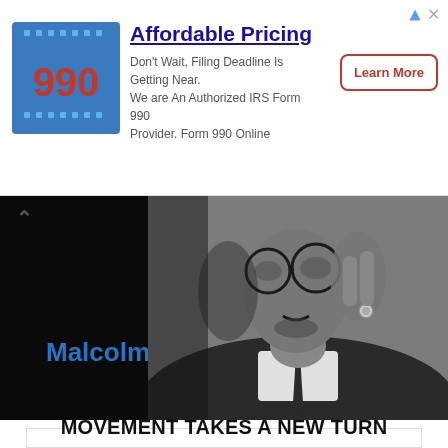[Figure (other): Advertisement banner for Form 990 Online with logo, text about affordable pricing and IRS filing deadline, and a Learn More button]
[Figure (photo): Black and white photograph of Malcolm X wearing glasses and a suit, with his hand raised near his face. The left portion of the image is black with the text 'Malcolm X' in blue.]
MOVEMENT TAKES A NEW TURN